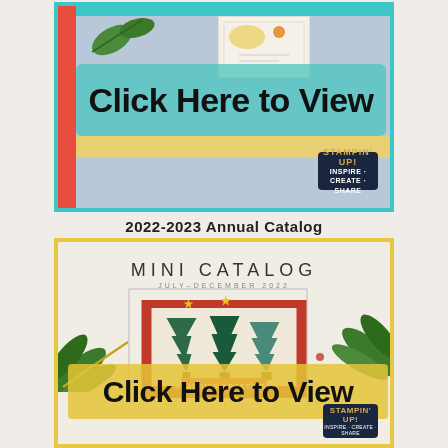[Figure (photo): 2022-2023 Stampin' Up Annual Catalog cover with teal border, 'Click Here to View' text on teal brush stroke, showing crafting/card-making supplies background]
2022-2023 Annual Catalog
[Figure (photo): Mini Catalog July-December 2022 with yellow border, Christmas tree card with 'Seasons Greetings', pine branches, and 'Click Here to View' text on yellow brush stroke]